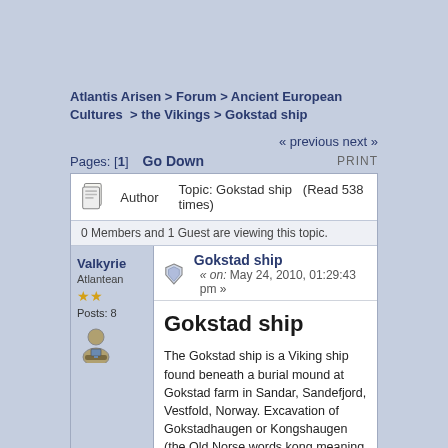Atlantis Arisen > Forum > Ancient European Cultures > the Vikings > Gokstad ship
« previous next »
Pages: [1]  Go Down  PRINT
Author  Topic: Gokstad ship  (Read 538 times)
0 Members and 1 Guest are viewing this topic.
Valkyrie
Atlantean
Posts: 8
Gokstad ship
« on: May 24, 2010, 01:29:43 pm »
Gokstad ship
The Gokstad ship is a Viking ship found beneath a burial mound at Gokstad farm in Sandar, Sandefjord, Vestfold, Norway. Excavation of Gokstadhaugen or Kongshaugen (the Old Norse words kong meaning king and haugr meaning mound) revealed a ship burial dated back to 9th century. The site was excavated in 1880 by Nicolay Nicolaysen.
[Figure (photo): Partial view of Gokstad ship image at bottom of page]